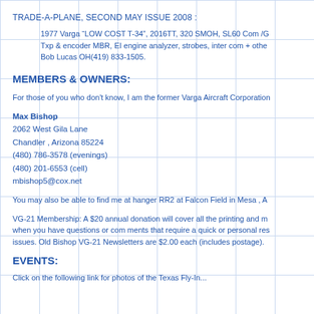TRADE-A-PLANE, SECOND MAY ISSUE 2008 :
1977 Varga “LOW COST T-34”, 2016TT, 320 SMOH, SL60 Com /G
Txp & encoder MBR, EI engine analyzer, strobes, inter com + othe
Bob Lucas OH(419) 833-1505.
MEMBERS & OWNERS:
For those of you who don't know, I am the former Varga Aircraft Corporation
Max Bishop
2062 West Gila Lane
Chandler , Arizona 85224
(480) 786-3578 (evenings)
(480) 201-6553 (cell)
mbishop5@cox.net
You may also be able to find me at hanger RR2 at Falcon Field in Mesa , A
VG-21 Membership: A $20 annual donation will cover all the printing and m
when you have questions or com ments that require a quick or personal res
issues. Old Bishop VG-21 Newsletters are $2.00 each (includes postage).
EVENTS:
Click on the following link for photos of the Texas Fly-In...